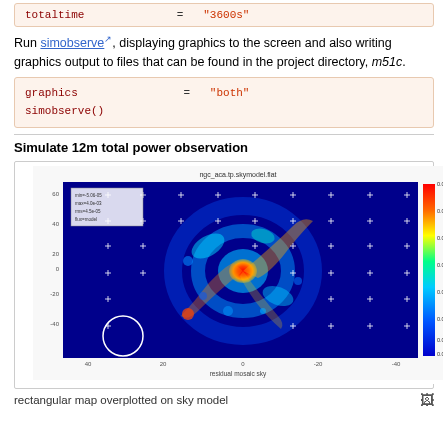code block: totaltime = "3600s"
Run simobserve, displaying graphics to the screen and also writing graphics output to files that can be found in the project directory, m51c.
code block: graphics = "both"
simobserve()
Simulate 12m total power observation
[Figure (other): False-color radio astronomy image of a spiral galaxy (M51) sky model, shown with a rectangular map overplotted. Color scale from blue (low) to red (high) intensity, with white cross markers indicating antenna pointings and a white circle in lower left. Title: ngc_aca.tp.skymodel.flat. Colorbar values range approximately 0.0004 to 0.0032.]
rectangular map overplotted on sky model